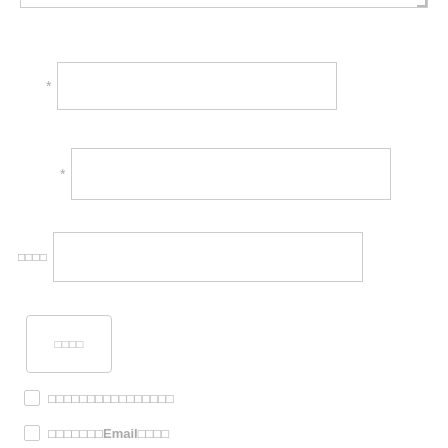[Figure (screenshot): Web form with textarea (cropped at top), two required text input fields with asterisks, one labeled text input field, a button, and two checkboxes with Japanese text labels including Email]
*
*
□□□□
□□□□
□□□□□□□□□□□□□□□□
□□□□□□□Email□□□□